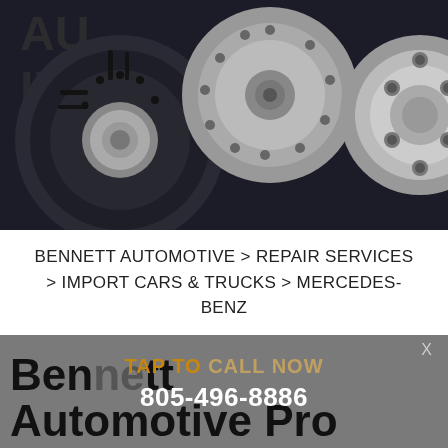[Figure (photo): Close-up photo of automotive brake disc and wheel hub assembly in dark metallic tones]
BENNETT AUTOMOTIVE > REPAIR SERVICES > IMPORT CARS & TRUCKS > MERCEDES-BENZ
[Figure (screenshot): Gray banner overlay with Bennett Automotive logo in large black bold text, overlaid with TAP TO CALL NOW CTA and phone number 805-496-8886 in white. X close button in top right.]